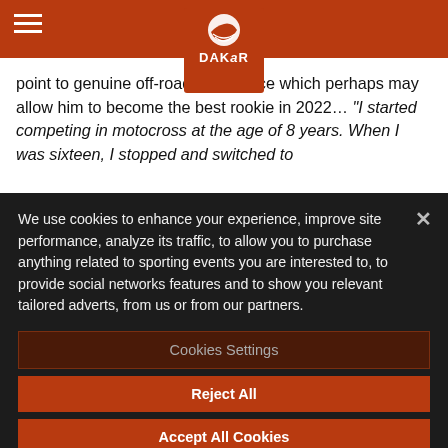Dakar Rally website header with logo
point to genuine off-road experience which perhaps may allow him to become the best rookie in 2022… “I started competing in motocross at the age of 8 years. When I was sixteen, I stopped and switched to
We use cookies to enhance your experience, improve site performance, analyze its traffic, to allow you to purchase anything related to sporting events you are interested to, to provide social networks features and to show you relevant tailored adverts, from us or from our partners.
Cookies Settings
Reject All
Accept All Cookies